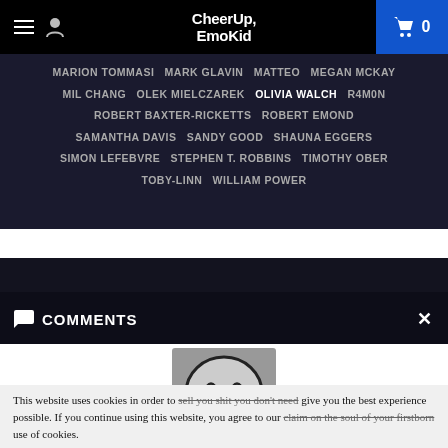CheerUp, EmoKid — navigation bar with hamburger menu, user icon, logo, and cart (0)
MARION TOMMASI  MARK GLAVIN  MATTEO  MEGAN MCKAY  MIL CHANG  OLEK MIELCZAREK  OLIVIA WALCH  R4M0N  ROBERT BAXTER-RICKETTS  ROBERT EMOND  SAMANTHA DAVIS  SANDY GOOD  SHAUNA EGGERS  SIMON LEFEBVRE  STEPHEN T. ROBBINS  TIMOTHY OBER  TOBY-LINN  WILLIAM POWER
COMMENTS
[Figure (illustration): Grayscale smiley face illustration — a stylized face with closed-eye smile, black outline on gray background]
This website uses cookies in order to sell you shit you don't need give you the best experience possible. If you continue using this website, you agree to our claim on the soul of your firstborn use of cookies.